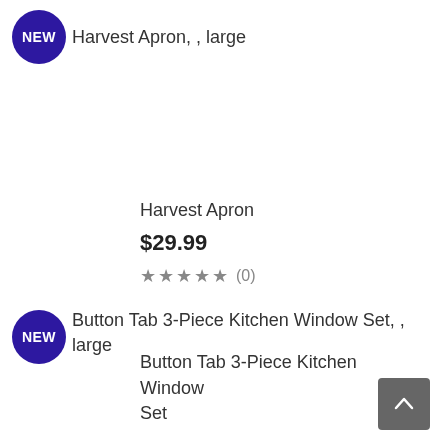NEW — Harvest Apron, , large
Harvest Apron
$29.99
★★★★★ (0)
NEW — Button Tab 3-Piece Kitchen Window Set, , large
Button Tab 3-Piece Kitchen Window Set